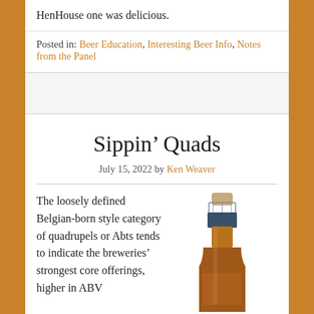HenHouse one was delicious.
Posted in: Beer Education, Interesting Beer Info, Notes from the Panel
Sippin’ Quads
July 15, 2022 by Ken Weaver
The loosely defined Belgian-born style category of quadrupels or Abts tends to indicate the breweries’ strongest core offerings, higher in ABV...
[Figure (photo): Top portion of a dark beer bottle with cork and wire cage stopper, amber colored glass, on white background]